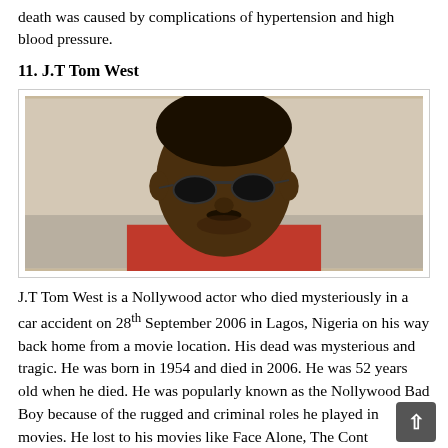death was caused by complications of hypertension and high blood pressure.
11. J.T Tom West
[Figure (photo): Black and white photo of J.T Tom West, a man wearing dark oval sunglasses and a red shirt, looking downward.]
J.T Tom West is a Nollywood actor who died mysteriously in a car accident on 28th September 2006 in Lagos, Nigeria on his way back home from a movie location. His dead was mysterious and tragic. He was born in 1954 and died in 2006. He was 52 years old when he died. He was popularly known as the Nollywood Bad Boy because of the rugged and criminal roles he played in movies. He lost his life in films like Face Alone, The Context...